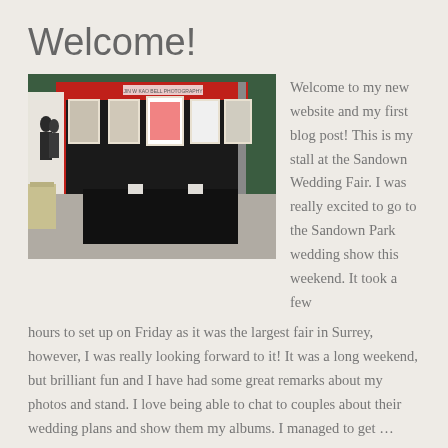Welcome!
[Figure (photo): A wedding fair exhibition stall with black draping, framed wedding photos displayed on the back wall, a red-draped entrance arch with fairy lights, a roll-up banner showing a wedding couple on the left, and a black-skirted table in the center foreground. The background features dark green curtains.]
Welcome to my new website and my first blog post! This is my stall at the Sandown Wedding Fair. I was really excited to go to the Sandown Park wedding show this weekend. It took a few hours to set up on Friday as it was the largest fair in Surrey, however, I was really looking forward to it! It was a long weekend, but brilliant fun and I have had some great remarks about my photos and stand. I love being able to chat to couples about their wedding plans and show them my albums. I managed to get …
CONTINUE READING